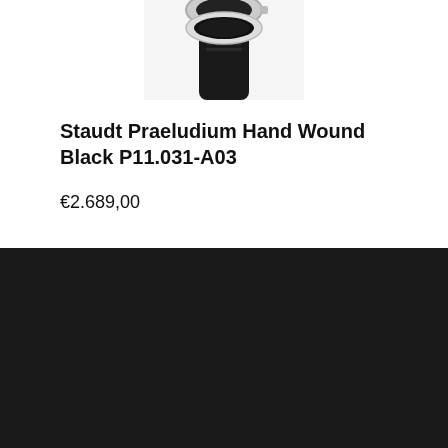[Figure (photo): Partial image of a Staudt watch with black leather strap and silver case, cropped at top]
Staudt Praeludium Hand Wound Black P11.031-A03
€2.689,00
We gebruiken cookies op onze website om u de meest relevante ervaring te bieden door uw voorkeuren en herhaalde bezoeken te onthouden. Door op "Accepteren" te klikken, stemt u in met het gebruik van ALLE cookies.
Cookies instellingen
Accepteren